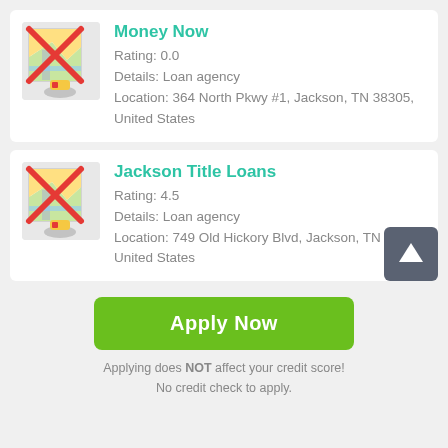[Figure (illustration): Map icon with red X cross over it and a pencil/location marker below, for Money Now listing]
Money Now
Rating: 0.0
Details: Loan agency
Location: 364 North Pkwy #1, Jackson, TN 38305, United States
[Figure (illustration): Map icon with red X cross over it and a pencil/location marker below, for Jackson Title Loans listing]
Jackson Title Loans
Rating: 4.5
Details: Loan agency
Location: 749 Old Hickory Blvd, Jackson, TN 38305, United States
[Figure (illustration): Dark grey square button with white upward arrow icon]
Apply Now
Applying does NOT affect your credit score!
No credit check to apply.